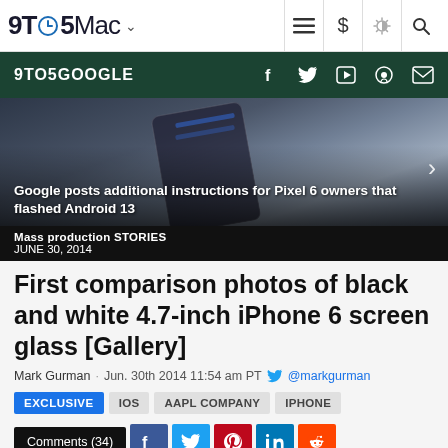9TO5Mac
[Figure (screenshot): 9TO5GOOGLE green navigation bar with social media icons (Facebook, Twitter, YouTube, Podcast, Email)]
[Figure (photo): Hero image showing a smartphone being held, with headline overlay: Google posts additional instructions for Pixel 6 owners that flashed Android 13]
Mass production STORIES
JUNE 30, 2014
First comparison photos of black and white 4.7-inch iPhone 6 screen glass [Gallery]
Mark Gurman · Jun. 30th 2014 11:54 am PT @markgurman
EXCLUSIVE
IOS
AAPL COMPANY
IPHONE
Comments (34)